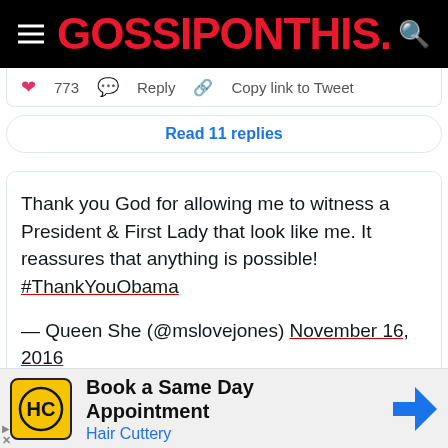GOSSIPONTHIS.
♥ 773  Reply  Copy link to Tweet
Read 11 replies
Thank you God for allowing me to witness a President & First Lady that look like me. It reassures that anything is possible! #ThankYouObama

— Queen She (@mslovejones) November 16, 2016
Book a Same Day Appointment
Hair Cuttery